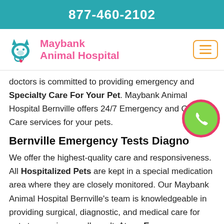877-460-2102
[Figure (logo): Maybank Animal Hospital logo with teal stethoscope and pet icon]
Maybank Animal Hospital
doctors is committed to providing emergency and Specialty Care For Your Pet. Maybank Animal Hospital Bernville offers 24/7 Emergency and Critical Care services for your pets.
Bernville Emergency Tests Diagno…
We offer the highest-quality care and responsiveness. All Hospitalized Pets are kept in a special medication area where they are closely monitored. Our Maybank Animal Hospital Bernville's team is knowledgeable in providing surgical, diagnostic, and medical care for pets to promise a well result. At our Emergency Veterinary Clinic, we offer the newest diagnostics and testing for our urgent care patients.